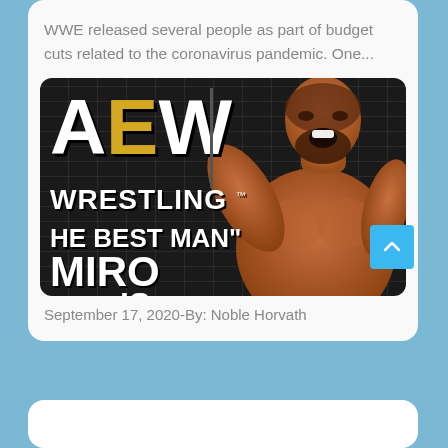WWE released several people as part of budget cuts related to the coronavirus pandemic. One...
[Figure (photo): AEW Wrestling promotional image featuring 'The Best Man' Miro, with the AEW logo on the left and a muscular wrestler shouting on the right, against a dark brick wall background]
September 17, 2020-By: Noble Horvath